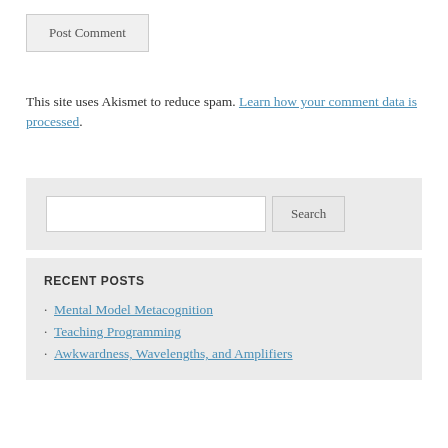Post Comment
This site uses Akismet to reduce spam. Learn how your comment data is processed.
Search
RECENT POSTS
Mental Model Metacognition
Teaching Programming
Awkwardness, Wavelengths, and Amplifiers